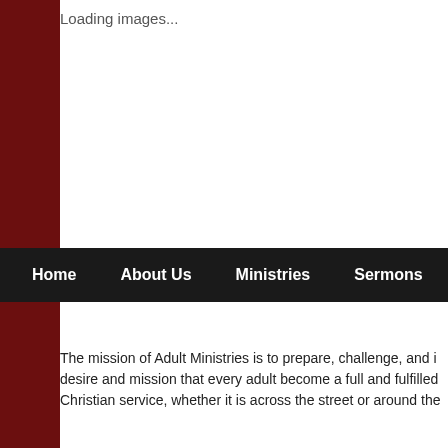Loading images...
Home | About Us | Ministries | Sermons | The G
The mission of Adult Ministries is to prepare, challenge, and i... desire and mission that every adult become a full and fulfilled... Christian service, whether it is across the street or around the...